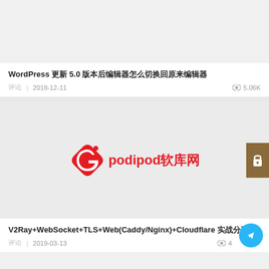[Figure (screenshot): Top card image area with light gray background]
WordPress 更新 5.0 版本后编辑器怎么切换回原来编辑器
评论 | 2018-12-11    👁 5.06K
[Figure (logo): podipod软库网 logo in red on gray background, with lock icon overlay on right]
V2Ray+WebSocket+TLS+Web(Caddy/Nginx)+Cloudflare 实战分享
评论 | 2019-03-13    👁 4...